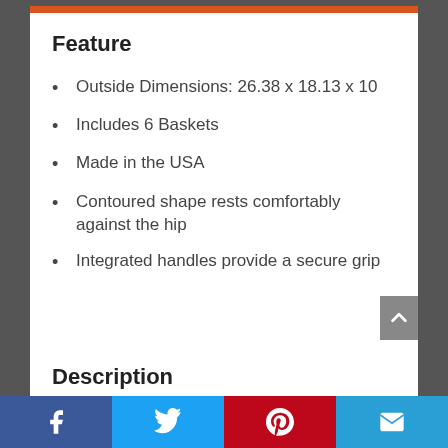Feature
Outside Dimensions: 26.38 x 18.13 x 10
Includes 6 Baskets
Made in the USA
Contoured shape rests comfortably against the hip
Integrated handles provide a secure grip
Description